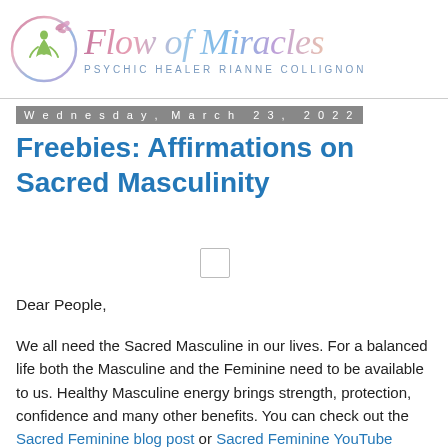Flow of Miracles — PSYCHIC HEALER RIANNE COLLIGNON
Wednesday, March 23, 2022
Freebies: Affirmations on Sacred Masculinity
[Figure (other): Small placeholder image/thumbnail box]
Dear People,
We all need the Sacred Masculine in our lives. For a balanced life both the Masculine and the Feminine need to be available to us. Healthy Masculine energy brings strength, protection, confidence and many other benefits. You can check out the Sacred Feminine blog post or Sacred Feminine YouTube Meditation if you want to balance both